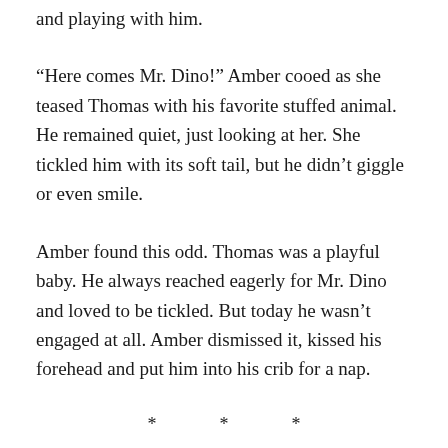and playing with him.
“Here comes Mr. Dino!” Amber cooed as she teased Thomas with his favorite stuffed animal. He remained quiet, just looking at her. She tickled him with its soft tail, but he didn’t giggle or even smile.
Amber found this odd. Thomas was a playful baby. He always reached eagerly for Mr. Dino and loved to be tickled. But today he wasn’t engaged at all. Amber dismissed it, kissed his forehead and put him into his crib for a nap.
* * *
It was time for Thomas’s lunch. Amber wanted